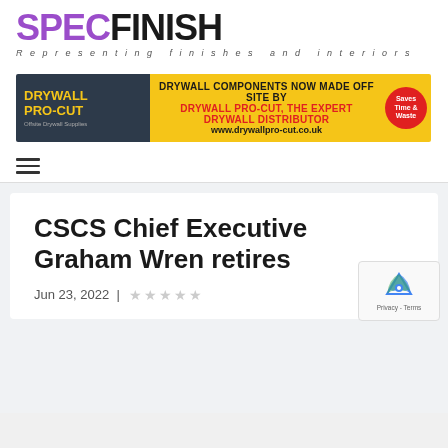[Figure (logo): SpecFinish logo with purple SPEC and black FINISH text, tagline 'Representing finishes and interiors']
[Figure (infographic): Drywall Pro-Cut advertisement banner: dark left panel with yellow DRYWALL PRO-CUT text, yellow right panel with text 'DRYWALL COMPONENTS NOW MADE OFF SITE BY DRYWALL PRO-CUT, THE EXPERT DRYWALL DISTRIBUTOR www.drywallpro-cut.co.uk' and red circular badge 'Saves Time & Waste']
CSCS Chief Executive Graham Wren retires
Jun 23, 2022 | ★★★★★